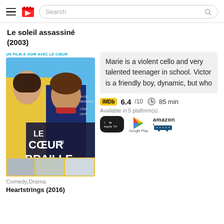Search
Le soleil assassiné (2003)
[Figure (photo): Movie poster for Le Coeur en Braille (2016), showing two teenagers on a blue background with French text 'UN FILM À VOIR AVEC LE CŒUR' at the top.]
Marie is a violent cello and very talented teenager in school. Victor is a friendly boy, dynamic, but who
IMDb 6.4/10  85 min
Available in 5 platform(s).
[Figure (logo): Streaming platform logos: Apple TV, Google Play, Amazon]
Comedy,Drama
Heartstrings (2016)